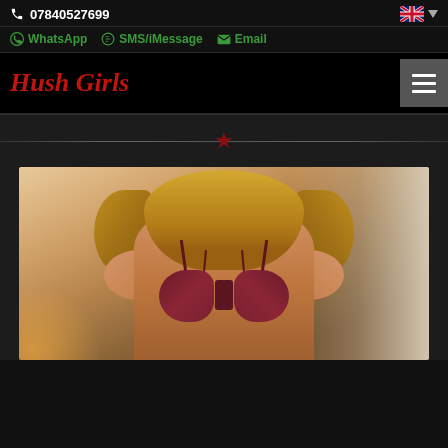07840527699
WhatsApp  SMS/iMessage  Email
Hush Girls
[Figure (photo): Photo of a blonde woman wearing a burgundy lace bra, photographed from shoulders to waist in a warmly lit room with window light behind her.]